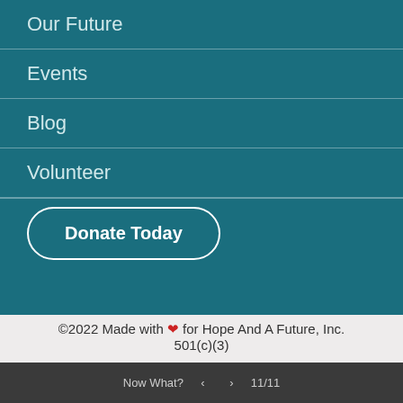Our Future
Events
Blog
Volunteer
Donate Today
©2022 Made with ❤ for Hope And A Future, Inc. 501(c)(3)
Now What?  <  >  11/11